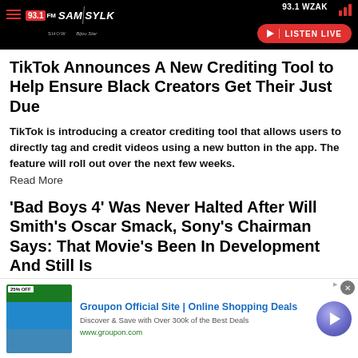93.1 WZAK — Sam Sylk Show — 93.1 FM — LISTEN LIVE
TikTok Announces A New Crediting Tool to Help Ensure Black Creators Get Their Just Due
TikTok is introducing a creator crediting tool that allows users to directly tag and credit videos using a new button in the app. The feature will roll out over the next few weeks.
Read More
'Bad Boys 4' Was Never Halted After Will Smith's Oscar Smack, Sony's Chairman Says: That Movie's Been In Development And Still Is
[Figure (screenshot): Groupon advertisement banner with logo image, text 'Groupon Official Site | Online Shopping Deals', 'Discover & Save with Over 300k of the Best Deals', 'www.groupon.com', and a circular arrow button]